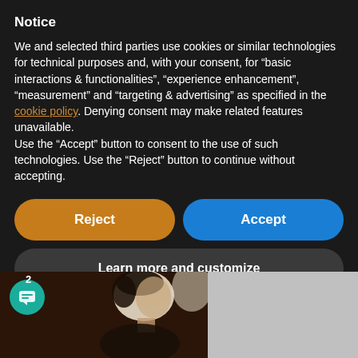Notice
We and selected third parties use cookies or similar technologies for technical purposes and, with your consent, for “basic interactions & functionalities”, “experience enhancement”, “measurement” and “targeting & advertising” as specified in the cookie policy. Denying consent may make related features unavailable.
Use the “Accept” button to consent to the use of such technologies. Use the “Reject” button to continue without accepting.
[Figure (screenshot): Two buttons side by side: orange 'Reject' button on the left and blue 'Accept' button on the right, both with rounded corners.]
[Figure (screenshot): Dark gray rounded 'Learn more and customize' button spanning full width.]
[Figure (photo): Bottom portion showing a photograph of a historical figure (profile view, dark hair) on a dark brownish background on the left, and a gray area on the right. A teal chat badge with message icon and number 2 is overlaid in the lower left.]